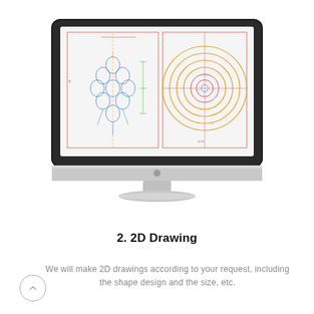[Figure (illustration): iMac desktop computer displaying a 2D CAD drawing with technical diagrams including a side view assembly and concentric circles diagram on screen]
2. 2D Drawing
We will make 2D drawings according to your request, including the shape design and the size, etc.